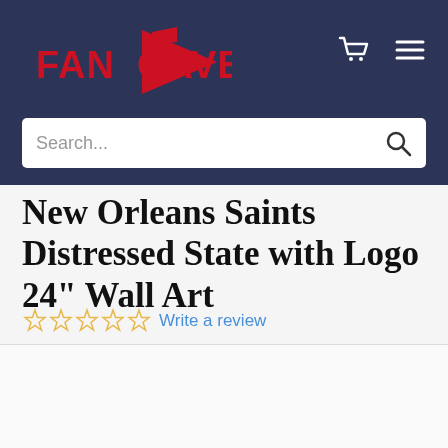[Figure (logo): FanCave logo in red with pennant graphic on dark navy background]
[Figure (screenshot): Shopping cart icon and hamburger menu icon in white on dark navy background]
Search...
New Orleans Saints Distressed State with Logo 24" Wall Art
☆☆☆☆☆ Write a review
[Figure (photo): Product image area (blank/loading)]